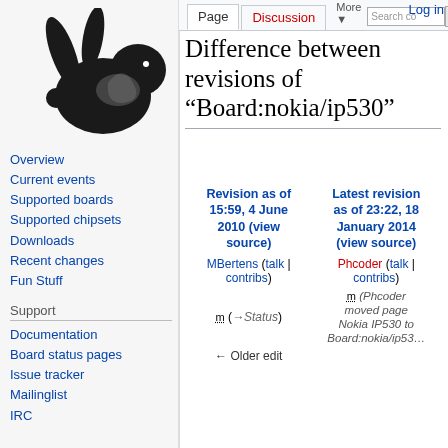[Figure (logo): Coreboot rabbit logo — black rabbit silhouette on light gray background]
Overview
Current events
Supported boards
Supported chipsets
Downloads
Recent changes
Fun Stuff
Support
Documentation
Board status pages
Issue tracker
Mailinglist
IRC
Page | Discussion | More | Search | Log in
Difference between revisions of "Board:nokia/ip530"
| Revision as of 15:59, 4 June 2010 (view source) | Latest revision as of 23:22, 18 January 2014 (view source) |
| --- | --- |
| MBertens (talk | contribs) | Phcoder (talk | contribs) |
| m (→Status) | m (Phcoder moved page Nokia IP530 to Board:nokia/ip53…) |
| ← Older edit |  |